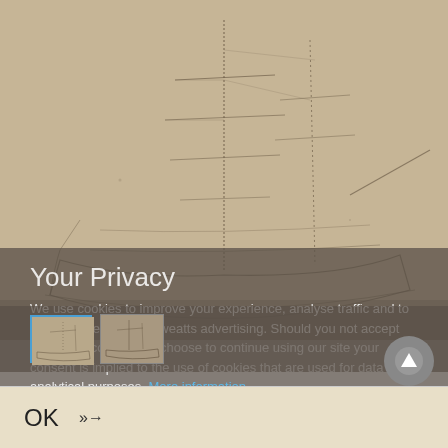[Figure (illustration): Faded pencil sketch of a sailing ship on aged paper background. The ship has multiple masts with rigging, a hull visible at waterline. The sketch is done in light pencil strokes on beige/tan paper.]
Your Privacy
We use cookies to improve your experience, analyse traffic and to show you relevant Dreweatts advertising. Should you not accept the use of cookies but choose to continue using our site your consent is implied to the use of cookies that are used for data analytical purposes. More information.
[Figure (thumbnail): Two small thumbnail images of the ship sketch. The first thumbnail has a blue border indicating it is selected/active. The second thumbnail has no border.]
OK